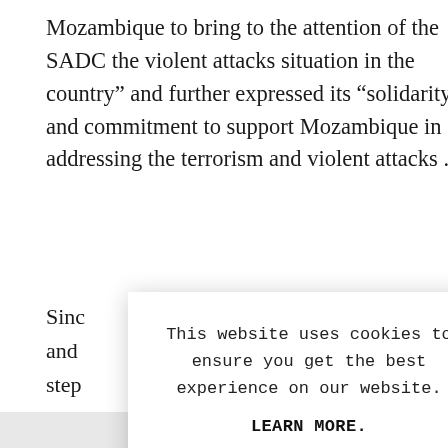Mozambique to bring to the attention of the SADC the violent attacks situation in the country” and further expressed its “solidarity and commitment to support Mozambique in addressing the terrorism and violent attacks ...”
Sinc
and
step
mor
But,
heed
excl
won
[Figure (screenshot): Cookie consent modal dialog box overlaid on the article text. Contains message: 'This website uses cookies to ensure you get the best experience on our website.' with a 'LEARN MORE.' link in bold and an 'ACCEPT COOKIES' button in light blue. A close (X) button appears in the top right corner.]
* Ng